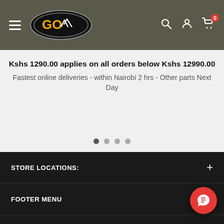GO [logo] navigation header with hamburger, logo, search, account, cart icons
Kshs 1290.00 applies on all orders below Kshs 12990.00
Fastest online deliveries - within Nairobi 2 hrs - Other parts Next Day
[Figure (other): Carousel slider dots indicator — 4 dots, first dot active/filled dark, remaining three lighter gray]
STORE LOCATIONS:
FOOTER MENU
NEWSLETTER
Keep yourself updated on events , products and offers by